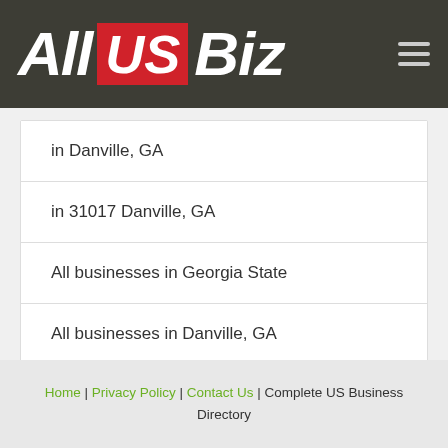All US Biz
in Danville, GA
in 31017 Danville, GA
All businesses in Georgia State
All businesses in Danville, GA
All businesses in 31017 Danville, GA
Home | Privacy Policy | Contact Us | Complete US Business Directory